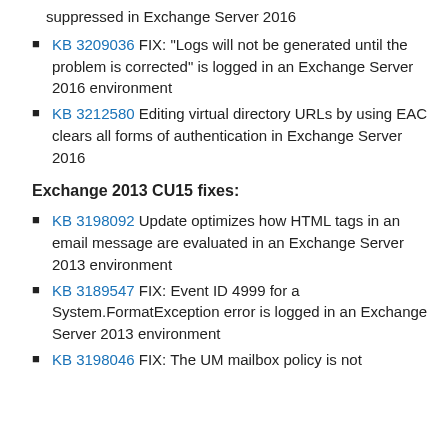suppressed in Exchange Server 2016
KB 3209036 FIX: "Logs will not be generated until the problem is corrected" is logged in an Exchange Server 2016 environment
KB 3212580 Editing virtual directory URLs by using EAC clears all forms of authentication in Exchange Server 2016
Exchange 2013 CU15 fixes:
KB 3198092 Update optimizes how HTML tags in an email message are evaluated in an Exchange Server 2013 environment
KB 3189547 FIX: Event ID 4999 for a System.FormatException error is logged in an Exchange Server 2013 environment
KB 3198046 FIX: The UM mailbox policy is not